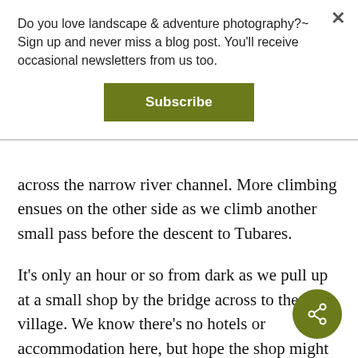Do you love landscape & adventure photography?~ Sign up and never miss a blog post. You'll receive occasional newsletters from us too.
Subscribe
across the narrow river channel. More climbing ensues on the other side as we climb another small pass before the descent to Tubares.
It's only an hour or so from dark as we pull up at a small shop by the bridge across to the village. We know there's no hotels or accommodation here, but hope the shop might be able to direct us to someone who